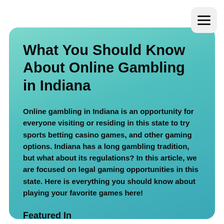What You Should Know About Online Gambling in Indiana
Online gambling in Indiana is an opportunity for everyone visiting or residing in this state to try sports betting casino games, and other gaming options. Indiana has a long gambling tradition, but what about its regulations? In this article, we are focused on legal gaming opportunities in this state. Here is everything you should know about playing your favorite games here!
Featured In